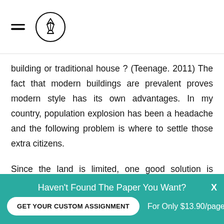[hamburger menu] [logo icon]
building or traditional house ? (Teenage. 2011) The fact that modern buildings are prevalent proves modern style has its own advantages. In my country, population explosion has been a headache and the following problem is where to settle those extra citizens.
Since the land is limited, one good solution is replacing those old buildings which occupy large space with tall and thin modern buildings. Also, modern buildings usually have the same and simple structure so that they
[Figure (infographic): Teal promotional banner at bottom of page. Text reads: Haven't Found The Paper You Want? with a GET YOUR CUSTOM ASSIGNMENT button and For Only $13.90/page text, plus an X close button.]